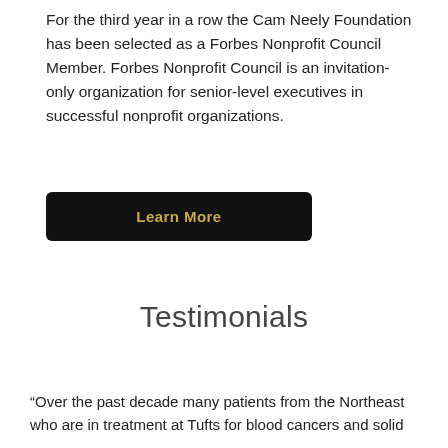For the third year in a row the Cam Neely Foundation has been selected as a Forbes Nonprofit Council Member. Forbes Nonprofit Council is an invitation-only organization for senior-level executives in successful nonprofit organizations.
Learn More
Testimonials
“Over the past decade many patients from the Northeast who are in treatment at Tufts for blood cancers and solid